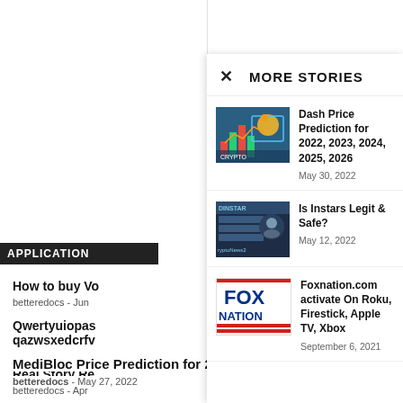APPLICATION
How to buy Vo
betteredocs - Jun
Qwertyuiopas qazwsxedcrfv
betteredocs - Jun
Real Story Re
betteredocs - Apr
MediBloc Price Prediction for 2022-2026
betteredocs - May 27, 2022
MORE STORIES
Dash Price Prediction for 2022, 2023, 2024, 2025, 2026
May 30, 2022
Is Instars Legit & Safe?
May 12, 2022
Foxnation.com activate On Roku, Firestick, Apple TV, Xbox
September 6, 2021